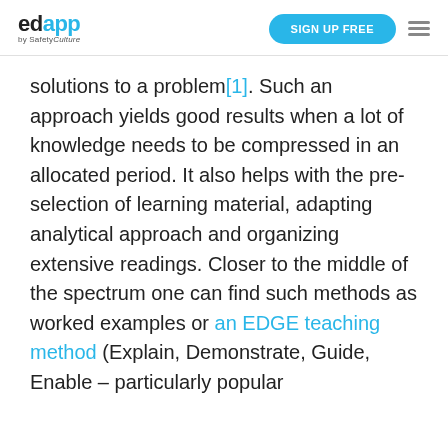edapp by SafetyCulture | SIGN UP FREE
solutions to a problem[1]. Such an approach yields good results when a lot of knowledge needs to be compressed in an allocated period. It also helps with the pre-selection of learning material, adapting analytical approach and organizing extensive readings. Closer to the middle of the spectrum one can find such methods as worked examples or an EDGE teaching method (Explain, Demonstrate, Guide, Enable – particularly popular